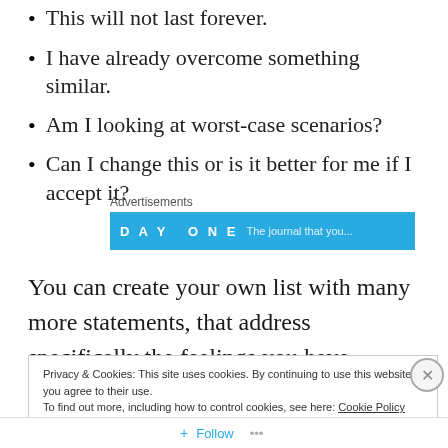This will not last forever.
I have already overcome something similar.
Am I looking at worst-case scenarios?
Can I change this or is it better for me if I accept it?
[Figure (other): Advertisements banner showing 'DAY ONE' text on a blue background with partially visible text below]
You can create your own list with many more statements, that address specifically the feelings you have.
Privacy & Cookies: This site uses cookies. By continuing to use this website, you agree to their use. To find out more, including how to control cookies, see here: Cookie Policy
Close and accept
Follow